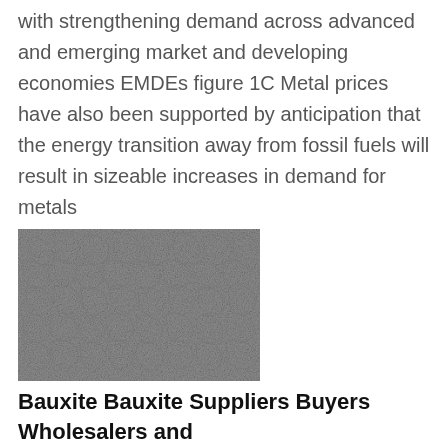with strengthening demand across advanced and emerging market and developing economies EMDEs figure 1C Metal prices have also been supported by anticipation that the energy transition away from fossil fuels will result in sizeable increases in demand for metals
[Figure (photo): Black and white close-up photograph of bauxite or metallic ore mineral texture, showing a dense crystalline/fibrous surface pattern.]
Bauxite Bauxite Suppliers Buyers Wholesalers and
exclusive and 100 confirm supply to chinese markets and availability to buy in r as well as usd key products iron ore industrial salt maganese ore chrome ore copper ore lead ore chrome ore bauxite billets ferrroferrs coking coal